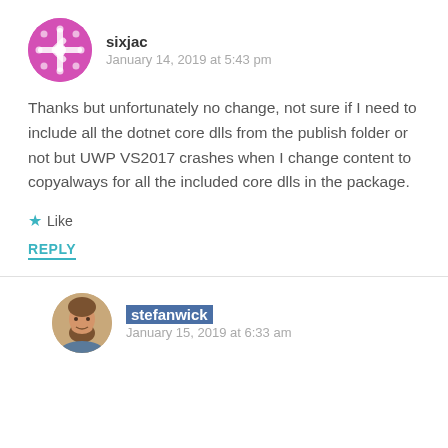[Figure (illustration): Purple snowflake-style avatar for user sixjac]
sixjac
January 14, 2019 at 5:43 pm
Thanks but unfortunately no change, not sure if I need to include all the dotnet core dlls from the publish folder or not but UWP VS2017 crashes when I change content to copyalways for all the included core dlls in the package.
Like
REPLY
[Figure (photo): Photo avatar of stefanwick, a man with a beard]
stefanwick
January 15, 2019 at 6:33 am